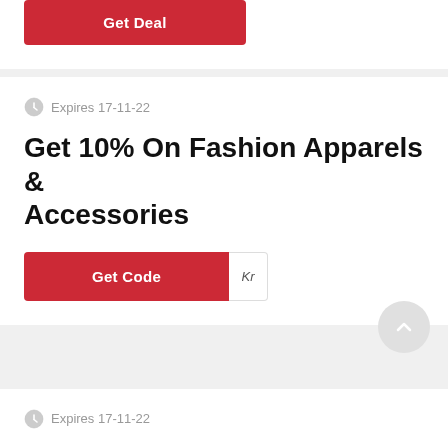[Figure (other): Get Deal red button]
Expires 17-11-22
Get 10% On Fashion Apparels & Accessories
[Figure (other): Get Code red button with code reveal area showing 'Kr']
Expires 17-11-22
10% Off On Sale Items